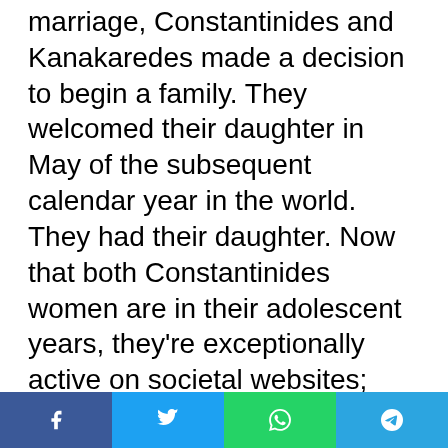marriage, Constantinides and Kanakaredes made a decision to begin a family. They welcomed their daughter in May of the subsequent calendar year in the world. They had their daughter. Now that both Constantinides women are in their adolescent years, they're exceptionally active on societal websites; such as Instagram and Facebook. Kanakaredes can frequently be seen commenting on images Zoe articles on Instagram, particularly since sometimes they're youthful pictures of Kanakaredes herself. Happily it appears as though the public respects the youthful age of those Constantinides women, and doesn't use
Share buttons: Facebook, Twitter, WhatsApp, Telegram